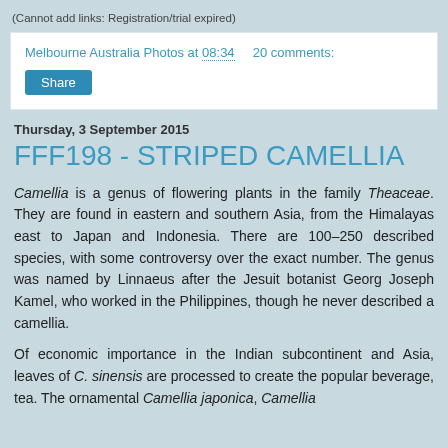(Cannot add links: Registration/trial expired)
Melbourne Australia Photos at 08:34    20 comments:
Share
Thursday, 3 September 2015
FFF198 - STRIPED CAMELLIA
Camellia is a genus of flowering plants in the family Theaceae. They are found in eastern and southern Asia, from the Himalayas east to Japan and Indonesia. There are 100–250 described species, with some controversy over the exact number. The genus was named by Linnaeus after the Jesuit botanist Georg Joseph Kamel, who worked in the Philippines, though he never described a camellia.
Of economic importance in the Indian subcontinent and Asia, leaves of C. sinensis are processed to create the popular beverage, tea. The ornamental Camellia japonica, Camellia